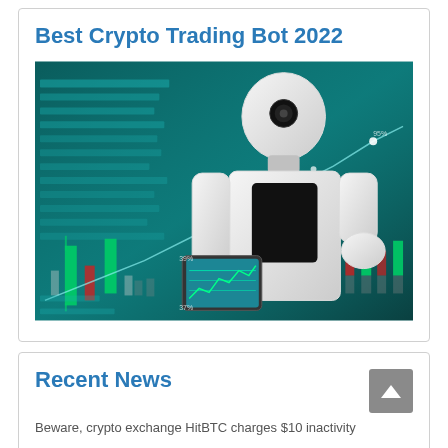Best Crypto Trading Bot 2022
[Figure (photo): An AI robot holding a tablet with cryptocurrency trading charts and candlestick graphs displayed in the background on screens showing market data.]
Recent News
Beware, crypto exchange HitBTC charges $10 inactivity